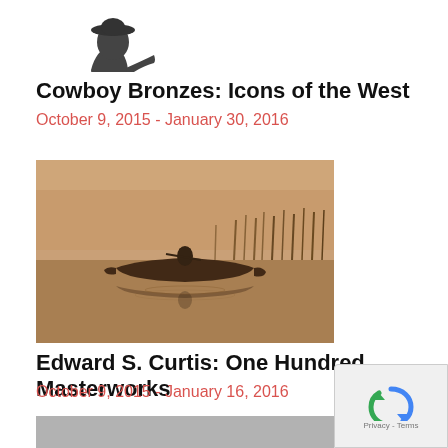[Figure (photo): Partial view of a cowboy bronze sculpture, dark metal figure on white background]
Cowboy Bronzes: Icons of the West
October 9, 2015 - January 30, 2016
[Figure (photo): Sepia-toned photograph of a person in a canoe on still water with reeds in the background, Edward S. Curtis photograph]
Edward S. Curtis: One Hundred Masterworks
October 9, 2015 - January 16, 2016
[Figure (photo): Partial view of a third exhibit image at the bottom of the page]